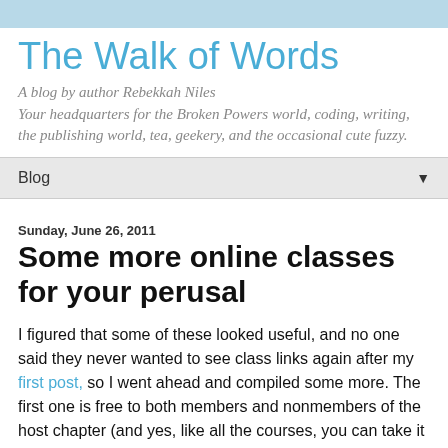The Walk of Words
A blog by author Rebekkah Niles
Your headquarters for the Broken Powers world, coding, writing, the publishing world, tea, geekery, and the occasional cute fuzzy.
Blog
Sunday, June 26, 2011
Some more online classes for your perusal
I figured that some of these looked useful, and no one said they never wanted to see class links again after my first post, so I went ahead and compiled some more. The first one is free to both members and nonmembers of the host chapter (and yes, like all the courses, you can take it even if you're